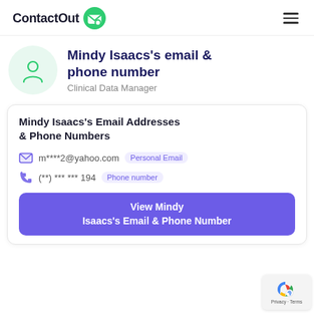ContactOut
Mindy Isaacs's email & phone number
Clinical Data Manager
Mindy Isaacs's Email Addresses & Phone Numbers
m****2@yahoo.com  Personal Email
(**) *** *** 194  Phone number
View Mindy Isaacs's Email & Phone Number